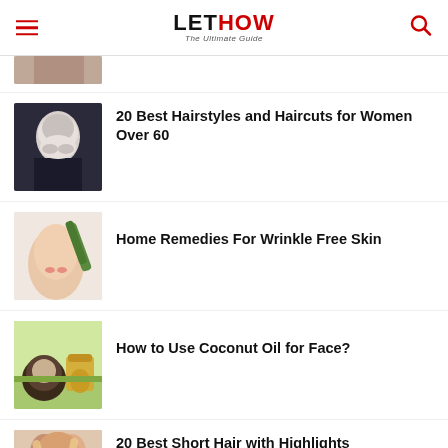LETHOW The Ultimate Guide
[Figure (photo): Partial image of a person, cropped at top]
20 Best Hairstyles and Haircuts for Women Over 60
[Figure (photo): Woman with gray wavy hair]
Home Remedies For Wrinkle Free Skin
[Figure (photo): Woman applying aloe vera to face]
How to Use Coconut Oil for Face?
[Figure (photo): Coconut oil jar with coconut and green leaves]
20 Best Short Hair with Highlights
[Figure (photo): Person with short highlighted hair]